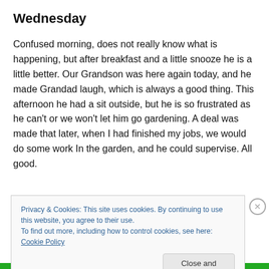Wednesday
Confused morning, does not really know what is happening, but after breakfast and a little snooze he is a little better. Our Grandson was here again today, and he made Grandad laugh, which is always a good thing. This afternoon he had a sit outside, but he is so frustrated as he can't or we won't let him go gardening. A deal was made that later, when I had finished my jobs, we would do some work In the garden, and he could supervise. All good.
Privacy & Cookies: This site uses cookies. By continuing to use this website, you agree to their use.
To find out more, including how to control cookies, see here: Cookie Policy